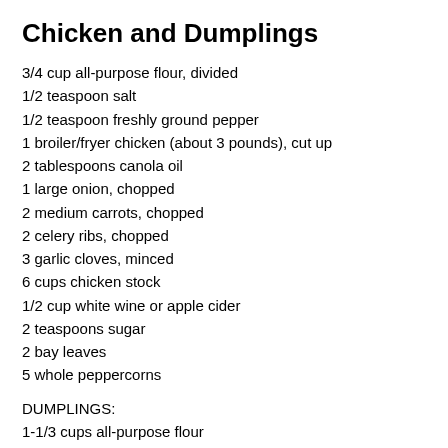Chicken and Dumplings
3/4 cup all-purpose flour, divided
1/2 teaspoon salt
1/2 teaspoon freshly ground pepper
1 broiler/fryer chicken (about 3 pounds), cut up
2 tablespoons canola oil
1 large onion, chopped
2 medium carrots, chopped
2 celery ribs, chopped
3 garlic cloves, minced
6 cups chicken stock
1/2 cup white wine or apple cider
2 teaspoons sugar
2 bay leaves
5 whole peppercorns
DUMPLINGS:
1-1/3 cups all-purpose flour
2 teaspoons baking powder
3/4 teaspoon salt
2/3 cup water, broth or beer
1 tablespoon olive oil